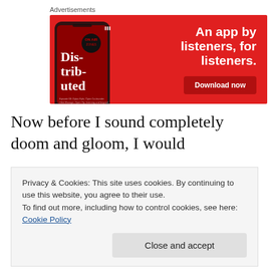Advertisements
[Figure (illustration): Red advertisement banner for a podcast app. Shows a smartphone displaying 'Distributed' podcast cover art on the left. Text on right reads 'An app by listeners, for listeners.' with a 'Download now' dark red button.]
Now before I sound completely doom and gloom, I would
Privacy & Cookies: This site uses cookies. By continuing to use this website, you agree to their use.
To find out more, including how to control cookies, see here: Cookie Policy
Close and accept
can pull off very large, yellow gold then you may love this